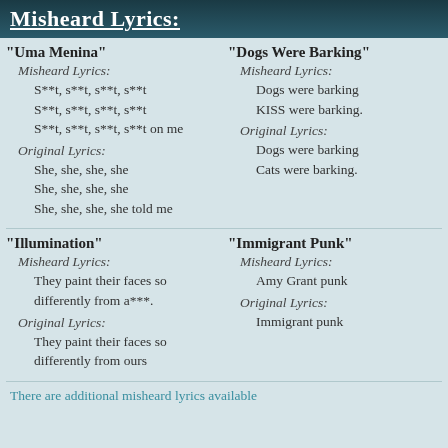Misheard Lyrics:
"Uma Menina"
  Misheard Lyrics:
    S**t, s**t, s**t, s**t
    S**t, s**t, s**t, s**t
    S**t, s**t, s**t, s**t on me
  Original Lyrics:
    She, she, she, she
    She, she, she, she
    She, she, she, she told me
"Dogs Were Barking"
  Misheard Lyrics:
    Dogs were barking
    KISS were barking.
  Original Lyrics:
    Dogs were barking
    Cats were barking.
"Illumination"
  Misheard Lyrics:
    They paint their faces so differently from a***.
  Original Lyrics:
    They paint their faces so differently from ours
"Immigrant Punk"
  Misheard Lyrics:
    Amy Grant punk
  Original Lyrics:
    Immigrant punk
There are additional misheard lyrics available